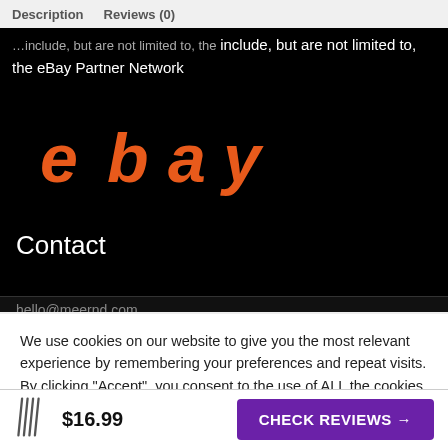Description   Reviews (0)
include, but are not limited to, the eBay Partner Network
[Figure (logo): eBay logo in orange italic text on black background]
Contact
hello@meernd.com
We use cookies on our website to give you the most relevant experience by remembering your preferences and repeat visits. By clicking “Accept”, you consent to the use of ALL the cookies.
Do not sell my personal information.
$16.99   CHECK REVIEWS →